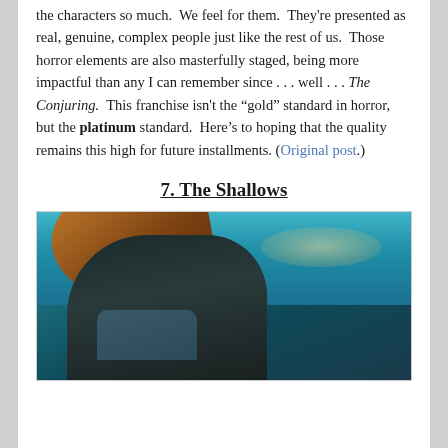the characters so much.  We feel for them.  They're presented as real, genuine, complex people just like the rest of us.  Those horror elements are also masterfully staged, being more impactful than any I can remember since . . . well . . . The Conjuring.  This franchise isn't the “gold” standard in horror, but the platinum standard.  Here’s to hoping that the quality remains this high for future installments. (Original post.)
7. The Shallows
[Figure (photo): A woman with long reddish-brown hair wet against her face, looking downward. She appears to be in or near turquoise ocean water. She wears dark clothing with a strap visible. Scene from The Shallows movie.]